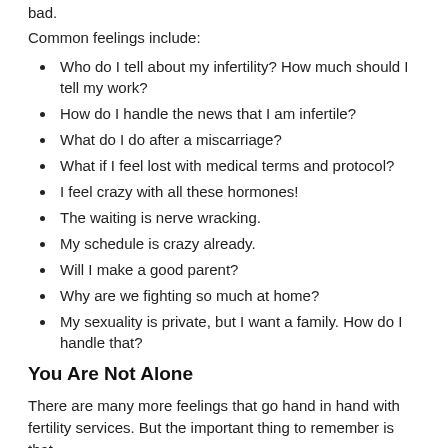bad.
Common feelings include:
Who do I tell about my infertility? How much should I tell my work?
How do I handle the news that I am infertile?
What do I do after a miscarriage?
What if I feel lost with medical terms and protocol?
I feel crazy with all these hormones!
The waiting is nerve wracking.
My schedule is crazy already.
Will I make a good parent?
Why are we fighting so much at home?
My sexuality is private, but I want a family. How do I handle that?
You Are Not Alone
There are many more feelings that go hand in hand with fertility services. But the important thing to remember is that